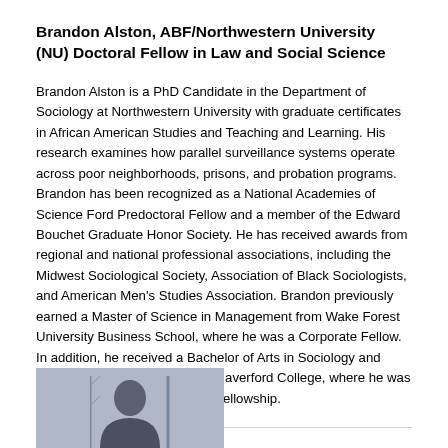Brandon Alston, ABF/Northwestern University (NU) Doctoral Fellow in Law and Social Science
Brandon Alston is a PhD Candidate in the Department of Sociology at Northwestern University with graduate certificates in African American Studies and Teaching and Learning. His research examines how parallel surveillance systems operate across poor neighborhoods, prisons, and probation programs. Brandon has been recognized as a National Academies of Science Ford Predoctoral Fellow and a member of the Edward Bouchet Graduate Honor Society. He has received awards from regional and national professional associations, including the Midwest Sociological Society, Association of Black Sociologists, and American Men's Studies Association. Brandon previously earned a Master of Science in Management from Wake Forest University Business School, where he was a Corporate Fellow. In addition, he received a Bachelor of Arts in Sociology and Religion (with distinction) from Haverford College, where he was a recipient of the Mellon Mays Fellowship.
[Figure (photo): Portrait photo of a person, partially visible at the bottom of the page below a horizontal divider line.]